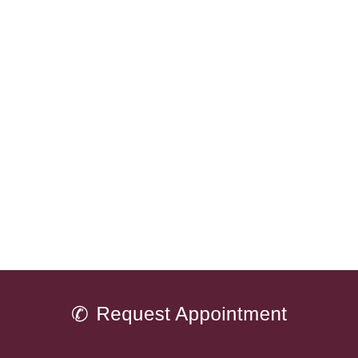Posted on October 15, 2020 by Thigpen Audiology & Thigpen Hearing Center // Posted in Comorbidity, Hearing Health
Request Appointment